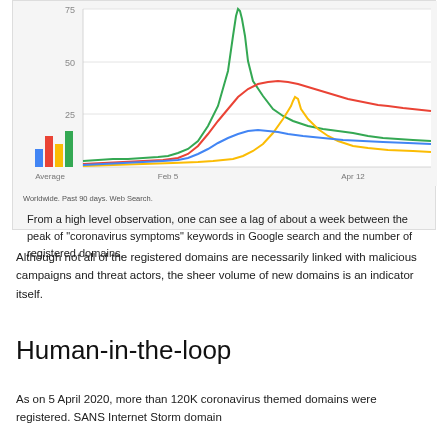[Figure (line-chart): Line chart showing Google Trends data for coronavirus-related keywords over past 90 days. Shows green line with sharp peak near late March, red line with broader peak in late March/April, yellow line with spike in April, and blue line with moderate trend. Average bars shown on left side.]
Worldwide. Past 90 days. Web Search.
From a high level observation, one can see a lag of about a week between the peak of "coronavirus symptoms" keywords in Google search and the number of registered domains.
Although not all of the registered domains are necessarily linked with malicious campaigns and threat actors, the sheer volume of new domains is an indicator itself.
Human-in-the-loop
As on 5 April 2020, more than 120K coronavirus themed domains were registered. SANS Internet Storm domain...